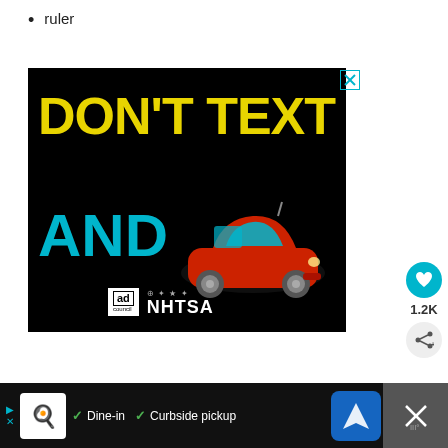ruler
[Figure (other): Public service advertisement on black background: 'DON'T TEXT AND [car emoji]' with Ad Council and NHTSA logos. A close button (X) appears in the top-right corner.]
1.2K
[Figure (other): Bottom banner advertisement with restaurant icon, checkmarks for 'Dine-in' and 'Curbside pickup', a navigation icon, and a close button.]